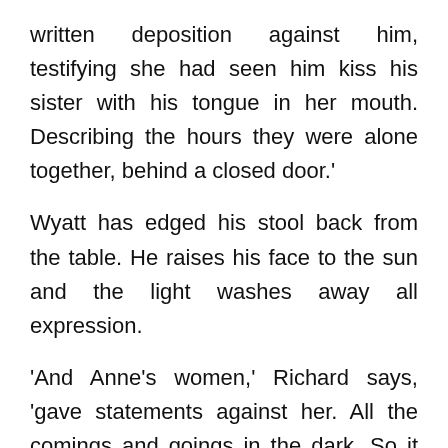written deposition against him, testifying she had seen him kiss his sister with his tongue in her mouth. Describing the hours they were alone together, behind a closed door.'
Wyatt has edged his stool back from the table. He raises his face to the sun and the light washes away all expression.
‘And Anne’s women,’ Richard says, ‘gave statements against her. All the comings and goings in the dark. So it was enough, without your help. They have witnessed